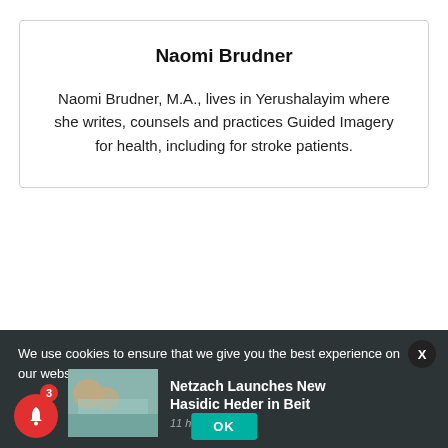Naomi Brudner
Naomi Brudner, M.A., lives in Yerushalayim where she writes, counsels and practices Guided Imagery for health, including for stroke patients.
We use cookies to ensure that we give you the best experience on our website. If yo
[Figure (screenshot): Notification card showing 'Netzach Launches New Hasidic Heder in Beit' with a thumbnail image and timestamp '11 hours ago']
OK